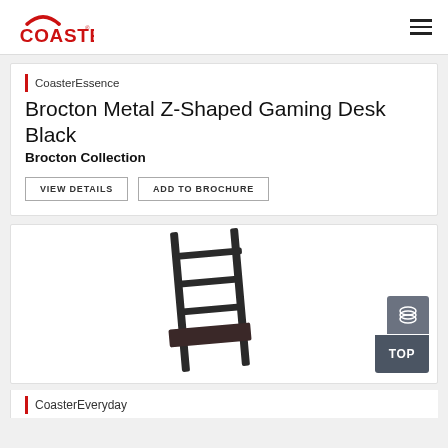COASTER
CoasterEssence
Brocton Metal Z-Shaped Gaming Desk Black
Brocton Collection
VIEW DETAILS
ADD TO BROCHURE
[Figure (photo): Dark brown ladder-style bookcase/leaning shelf shown at an angle on white background]
CoasterEveryday